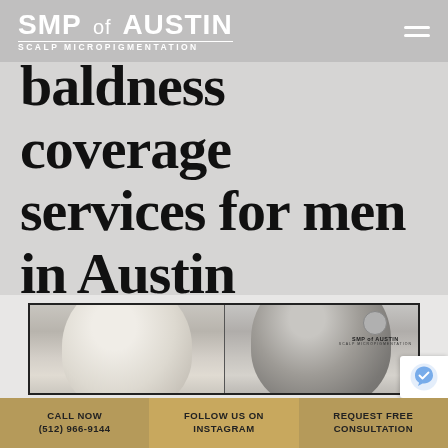SMP of AUSTIN — SCALP MICROPIGMENTATION
baldness coverage services for men in Austin
[Figure (photo): Before and after comparison photo showing a bald head (left) and a head treated with scalp micropigmentation (right), displayed side by side in a black-bordered frame with SMP of Austin watermark logo in top-right corner.]
CALL NOW (512) 966-9144 | FOLLOW US ON INSTAGRAM | REQUEST FREE CONSULTATION